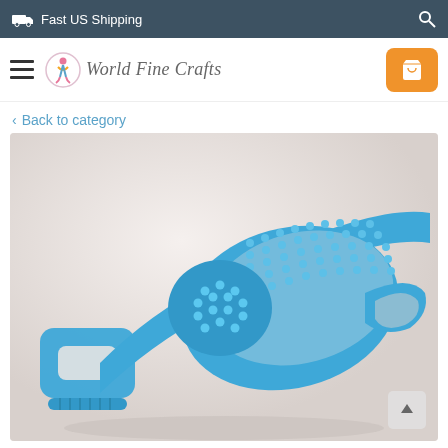Fast US Shipping
[Figure (logo): World Fine Crafts logo with stylized figure icon and italic text]
Back to category
[Figure (photo): Blue silicone back scrubber/bath brush with massage bristles and hand holds, coiled on white background]